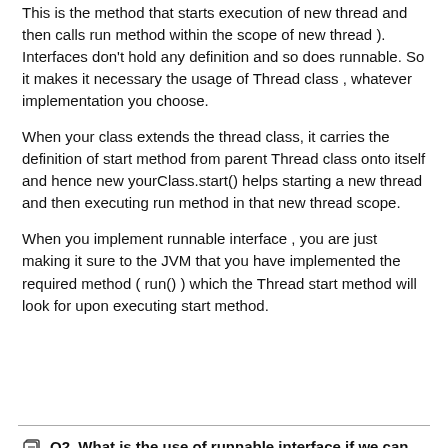This is the method that starts execution of new thread and then calls run method within the scope of new thread ). Interfaces don't hold any definition and so does runnable. So it makes it necessary the usage of Thread class , whatever implementation you choose.
When your class extends the thread class, it carries the definition of start method from parent Thread class onto itself and hence new yourClass.start() helps starting a new thread and then executing run method in that new thread scope.
When you implement runnable interface , you are just making it sure to the JVM that you have implemented the required method ( run() ) which the Thread start method will look for upon executing start method.
Q2. What is the use of runnable interface if we can always create a new thread using Thread class ?